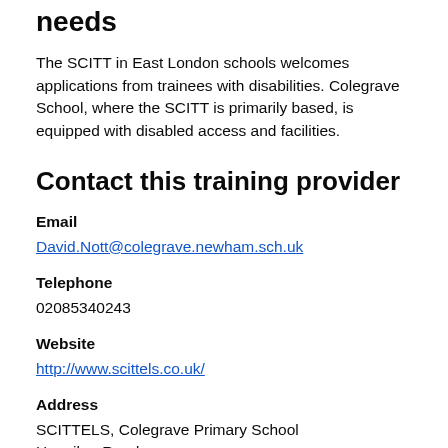needs
The SCITT in East London schools welcomes applications from trainees with disabilities. Colegrave School, where the SCITT is primarily based, is equipped with disabled access and facilities.
Contact this training provider
Email
David.Nott@colegrave.newham.sch.uk
Telephone
02085340243
Website
http://www.scittels.co.uk/
Address
SCITTELS, Colegrave Primary School
Henniker Road
Stratford
London
E15 1JY